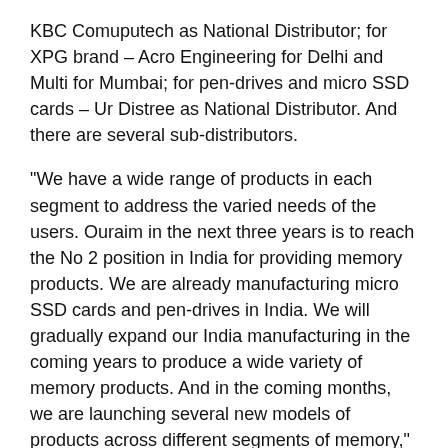KBC Comuputech as National Distributor; for XPG brand – Acro Engineering for Delhi and Multi for Mumbai; for pen-drives and micro SSD cards – Ur Distree as National Distributor. And there are several sub-distributors.
“We have a wide range of products in each segment to address the varied needs of the users. Ouraim in the next three years is to reach the No 2 position in India for providing memory products. We are already manufacturing micro SSD cards and pen-drives in India. We will gradually expand our India manufacturing in the coming years to produce a wide variety of memory products. And in the coming months, we are launching several new models of products across different segments of memory,” adds Charles Wei.
ADATA has its own company representatives in India to take care of their operations, to train and coordinate with their partners: Sachin, based in New Delhi takes care of North India operations; Shiva, based in Bangalore, takes